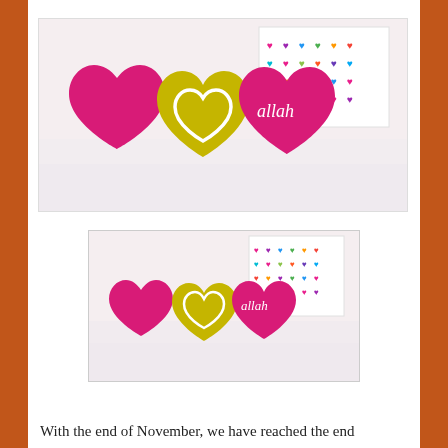[Figure (photo): Large photo of colorful heart-shaped erasers/objects on a white surface. Three prominent hearts visible: a deep pink/magenta heart on left, a yellow-green heart in center with a white heart outline, and a pink heart on right with text 'allah' in white. More colorful heart shapes visible in background along with a box decorated with multicolored heart patterns.]
[Figure (photo): Smaller version of the same heart-shaped objects photo: pink heart on left, yellow-green heart in center with white heart outline, pink heart on right with 'allah' text, with colorful box in background.]
With the end of November, we have reached the end